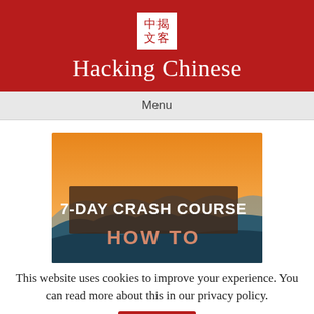[Figure (logo): Hacking Chinese logo: white box with red Chinese characters 中揭文客, red background header with site title 'Hacking Chinese']
Menu
[Figure (illustration): 7-Day Crash Course promotional banner image showing sunset/mountain landscape with text '7-DAY CRASH COURSE' and 'HOW TO' partially visible]
This website uses cookies to improve your experience. You can read more about this in our privacy policy.
Accept
Read more...